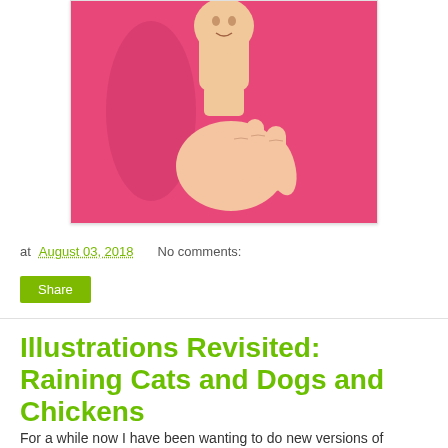[Figure (photo): A hand holding a small figurine/sculpture of a person's head against a bright pink background]
at August 03, 2018    No comments:
Share
Illustrations Revisited: Raining Cats and Dogs and Chickens
For a while now I have been wanting to do new versions of